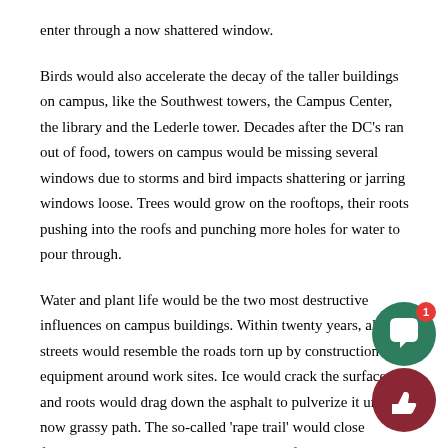enter through a now shattered window.
Birds would also accelerate the decay of the taller buildings on campus, like the Southwest towers, the Campus Center, the library and the Lederle tower. Decades after the DC’s ran out of food, towers on campus would be missing several windows due to storms and bird impacts shattering or jarring windows loose. Trees would grow on the rooftops, their roots pushing into the roofs and punching more holes for water to pour through.
Water and plant life would be the two most destructive influences on campus buildings. Within twenty years, all the streets would resemble the roads torn up by construction equipment around work sites. Ice would crack the surface and roots would drag down the asphalt to pulverize it under a now grassy path. The so-called ‘rape trail’ would close forever with new growth, and the center of campus sexual indiscretions would be, once [obscured] the ducks in heat.
The benign, smelly nature of the campus pond would hide its insidious p[age cut off]